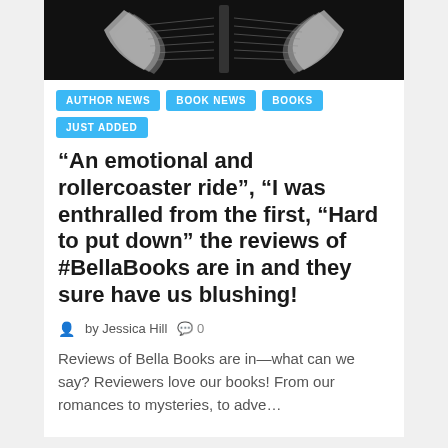[Figure (photo): Black and white photo of an open book viewed from above against a dark background]
AUTHOR NEWS
BOOK NEWS
BOOKS
JUST ADDED
“An emotional and rollercoaster ride”, “I was enthralled from the first, “Hard to put down” the reviews of #BellaBooks are in and they sure have us blushing!
by Jessica Hill   0
Reviews of Bella Books are in—what can we say? Reviewers love our books! From our romances to mysteries, to adve…